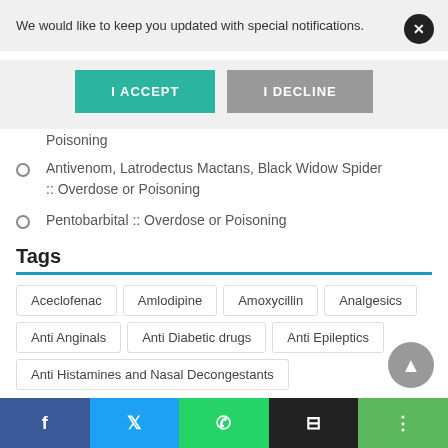We would like to keep you updated with special notifications.
I ACCEPT
I DECLINE
Poisoning
Antivenom, Latrodectus Mactans, Black Widow Spider :: Overdose or Poisoning
Pentobarbital :: Overdose or Poisoning
Tags
Aceclofenac  Amlodipine  Amoxycillin  Analgesics  Anti Anginals  Anti Diabetic drugs  Anti Epileptics  Anti Histamines and Nasal Decongestants